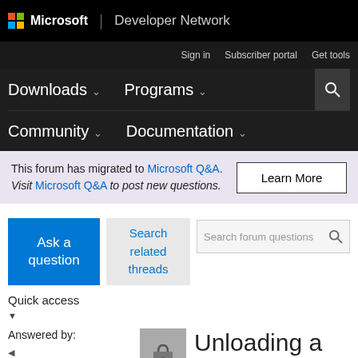Microsoft | Developer Network
Sign in | Subscriber portal | Get tools
Downloads | Programs | Community | Documentation
This forum has migrated to Microsoft Q&A. Visit Microsoft Q&A to post new questions.
Ask a question
Search related threads
Search forum questions
Quick access
Answered by:
Unloading a Tabular model